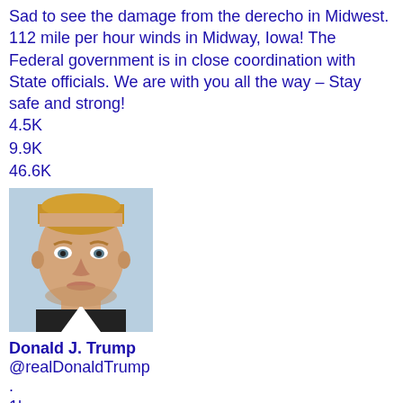Sad to see the damage from the derecho in Midwest. 112 mile per hour winds in Midway, Iowa! The Federal government is in close coordination with State officials. We are with you all the way – Stay safe and strong!
4.5K
9.9K
46.6K
[Figure (photo): Profile photo of Donald J. Trump]
Donald J. Trump
@realDonaldTrump
.
1h
Thank you to Sheriff Gonzales of Bernalillo County, New Mexico, for joining my call with our Nation's sheriffs.